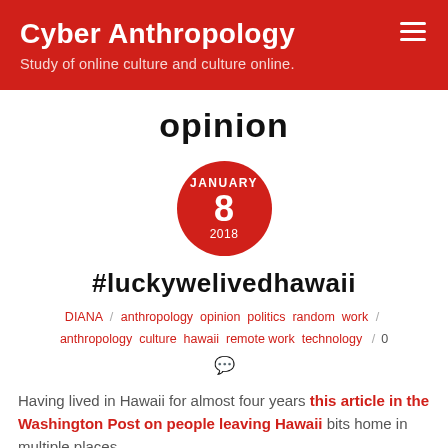Cyber Anthropology
Study of online culture and culture online.
opinion
[Figure (other): Red circle date badge showing JANUARY 8 2018]
#luckywelivedhawaii
DIANA / anthropology opinion politics random work anthropology culture hawaii remote work technology / 0
Having lived in Hawaii for almost four years this article in the Washington Post on people leaving Hawaii bits home in multiple places.